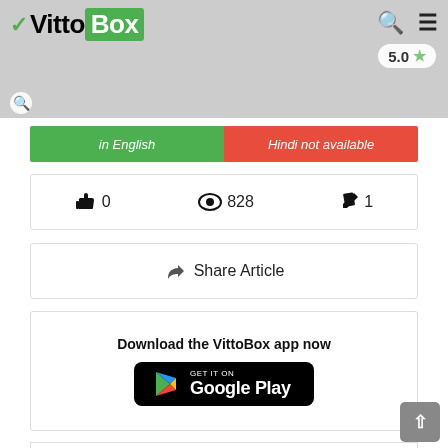[Figure (screenshot): VittoBox website header with logo, search and menu icons, rating badge 5.0, and sports image background]
in English | Hindi not available
0  828  1
Share Article
Download the VittoBox app now
[Figure (logo): GET IT ON Google Play badge]